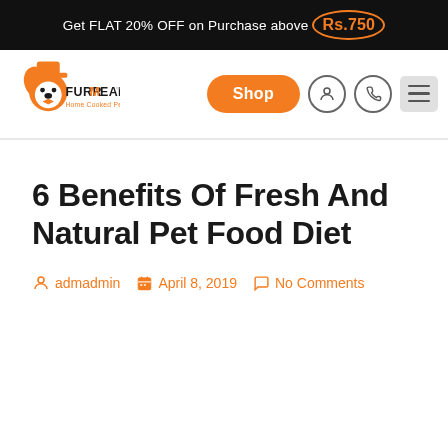Get FLAT 20% OFF on Purchase above Rs.750
[Figure (logo): FurrMeals logo - orange dog icon with bowtie, text FURRMEALS Home Cooked Pet Food]
6 Benefits Of Fresh And Natural Pet Food Diet
admadmin  April 8, 2019  No Comments